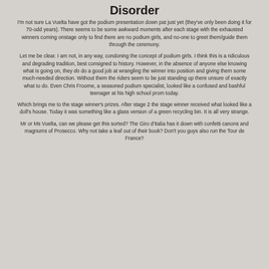Disorder
I'm not sure La Vuelta have got the podium presentation down pat just yet (they've only been doing it for 70-odd years). There seems to be some awkward moments after each stage with the exhausted winners coming onstage only to find there are no podium girls, and no-one to greet them/guide them through the ceremony.
Let me be clear. I am not, in any way, condoning the concept of podium girls. I think this is a ridiculous and degrading tradition, best consigned to history. However, in the absence of anyone else knowing what is going on, they do do a good job at wrangling the winner into position and giving them some much-needed direction. Without them the riders seem to be just standing up there unsure of exactly what to do. Even Chris Froome, a seasoned podium specialist, looked like a confused and bashful teenager at his high school prom today.
Which brings me to the stage winner's prizes. After stage 2 the stage winner received what looked like a doll's house. Today it was something like a glass version of a green recycling bin. It is all very strange.
Mr or Ms Vuelta, can we please get this sorted? The Giro d'Italia has it down with confetti canons and magnums of Prosecco. Why not take a leaf out of their book? Don't you guys also run the Tour de France?